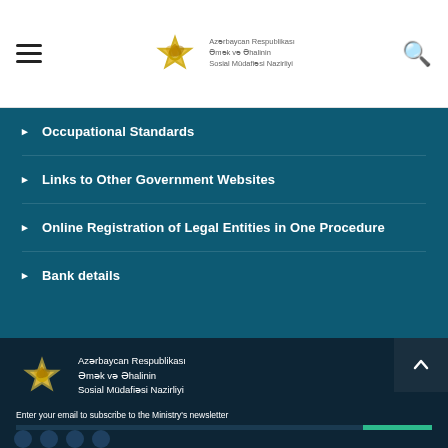Azərbaycan Respublikası Əmək və Əhalinin Sosial Müdafiəsi Nazirliyi
Occupational Standards
Links to Other Government Websites
Online Registration of Legal Entities in One Procedure
Bank details
Azərbaycan Respublikası Əmək və Əhalinin Sosial Müdafiəsi Nazirliyi
Enter your email to subscribe to the Ministry's newsletter
Your email address
Subscribe